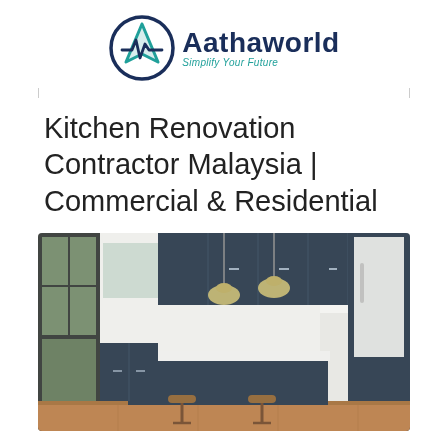[Figure (logo): Aathaworld logo with teal and navy triangle/checkmark symbol and text 'Aathaworld' with tagline 'Simplify Your Future']
Kitchen Renovation Contractor Malaysia | Commercial & Residential
[Figure (photo): Modern kitchen renovation featuring dark navy blue cabinetry, white countertops, pendant lights, kitchen island with bar stools, and stainless steel appliances]